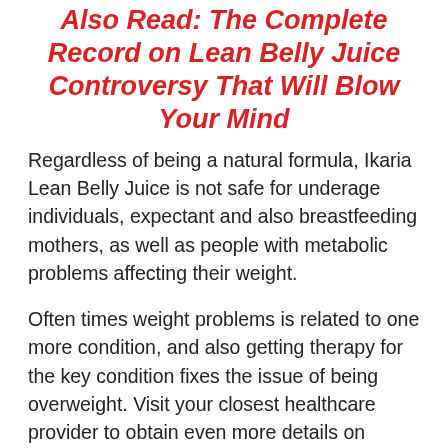Also Read: The Complete Record on Lean Belly Juice Controversy That Will Blow Your Mind
Regardless of being a natural formula, Ikaria Lean Belly Juice is not safe for underage individuals, expectant and also breastfeeding mothers, as well as people with metabolic problems affecting their weight.
Often times weight problems is related to one more condition, and also getting therapy for the key condition fixes the issue of being overweight. Visit your closest healthcare provider to obtain even more details on weight management supplements.
...